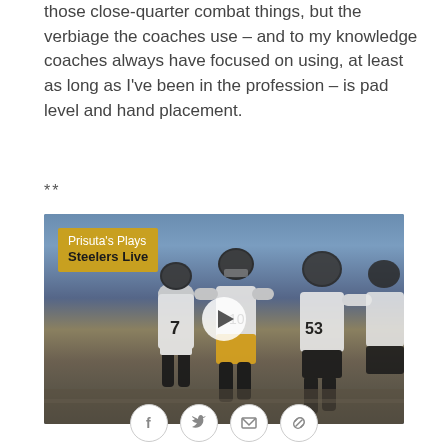those close-quarter combat things, but the verbiage the coaches use – and to my knowledge coaches always have focused on using, at least as long as I've been in the profession – is pad level and hand placement.
**
[Figure (photo): Video thumbnail showing Pittsburgh Steelers football players on field during a game. Overlay label reads 'Prisuta's Plays / Steelers Live' on a gold background. A white circular play button is centered on the image.]
[Figure (infographic): Social sharing icon bar with four circular icons: Facebook (f), Twitter (bird), Email (envelope), and Link/share symbol]